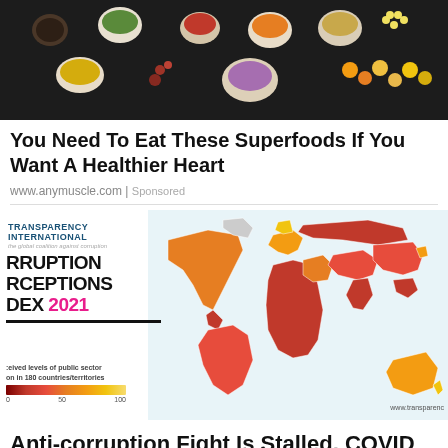[Figure (photo): Overhead photo of various colorful superfoods in white bowls on dark background, arranged with a heart shape made of small round foods]
You Need To Eat These Superfoods If You Want A Healthier Heart
www.anymuscle.com | Sponsored
[Figure (map): Transparency International Corruption Perceptions Index 2021 world map showing perceived levels of public sector corruption in 180 countries/territories around the world, colored from dark red (most corrupt) to yellow (least corrupt)]
Anti-corruption Fight Is Stalled, COVID Not